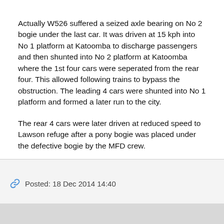Actually W526 suffered a seized axle bearing on No 2 bogie under the last car. It was driven at 15 kph into No 1 platform at Katoomba to discharge passengers and then shunted into No 2 platform at Katoomba where the 1st four cars were seperated from the rear four. This allowed following trains to bypass the obstruction. The leading 4 cars were shunted into No 1 platform and formed a later run to the city.
The rear 4 cars were later driven at reduced speed to Lawson refuge after a pony bogie was placed under the defective bogie by the MFD crew.
The whole operation was handled brilliantly with minimal delays to passengers.
Posted: 18 Dec 2014 14:40